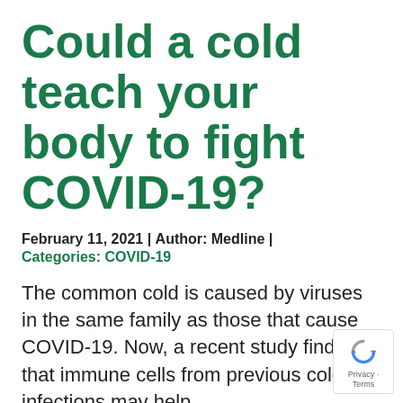Could a cold teach your body to fight COVID-19?
February 11, 2021 | Author: Medline |
Categories: COVID-19
The common cold is caused by viruses in the same family as those that cause COVID-19. Now, a recent study finds that immune cells from previous cold infections may help
Read More